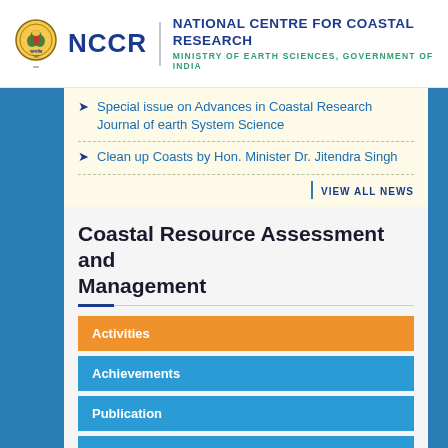NCCR — NATIONAL CENTRE FOR COASTAL RESEARCH, MINISTRY OF EARTH SCIENCES, GOVERNMENT OF INDIA
Special issue on Advances in Coastal Research Journal of earth System Science
Clean up Coasts by Hon. Minister Dr. Jitendra Singh
VIEW ALL NEWS
Coastal Resource Assessment and Management
Activities
Achievements
Publication